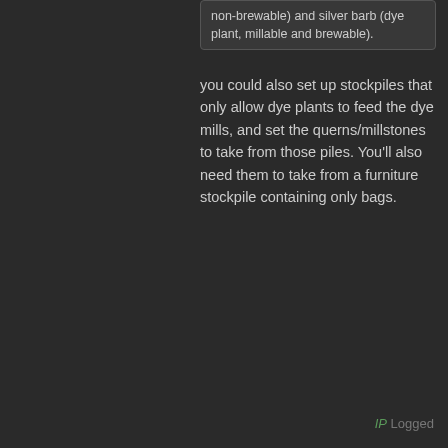non-brewable) and silver barb (dye plant, millable and brewable).
you could also set up stockpiles that only allow dye plants to feed the dye mills, and set the querns/millstones to take from those piles. You'll also need them to take from a furniture stockpile containing only bags.
IP Logged
da_nang
Bay Watcher
Argonian Overlord
Re: What's going on in your fort?
« Reply #56304 on: October 03, 2021, 07:
That's the separation I mentioned, yes. But without a job manager, you'll quickly use up all the bags (unless you do funky minecart wizardry) or overproduce. And without an additional plant reagent condition, you'll get cancellation spam since you are counting more than just the dye plants.
So for the non-dye mills, you use "Millable DRINK_MAT producing plants"